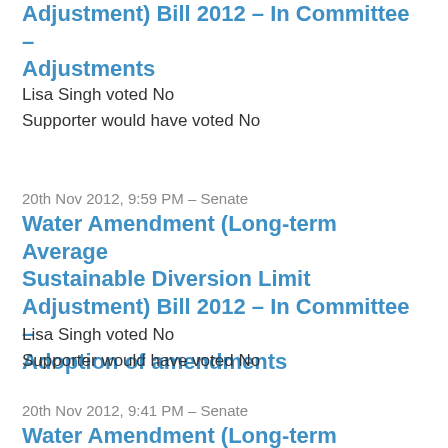Adjustment) Bill 2012 - In Committee - Adjustments
Lisa Singh voted No
Supporter would have voted No
20th Nov 2012, 9:59 PM – Senate
Water Amendment (Long-term Average Sustainable Diversion Limit Adjustment) Bill 2012 - In Committee - Adoption of amendments
Lisa Singh voted No
Supporter would have voted No
20th Nov 2012, 9:41 PM – Senate
Water Amendment (Long-term Average